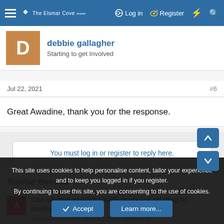The Elsmar Cove | Log in | Register
debbie gallagher
Starting to get Involved
Jul 22, 2021   #6
Great Awadine, thank you for the response.
You must log in or register to reply here.
Similar threads
Can anyone explain UKRP guidance relating to Northern Ireland?
Started by Awadine · Aug 19, 2021 · Replies: 2
This site uses cookies to help personalise content, tailor your experience and to keep you logged in if you register.
By continuing to use this site, you are consenting to the use of cookies.
Accept   Learn more...